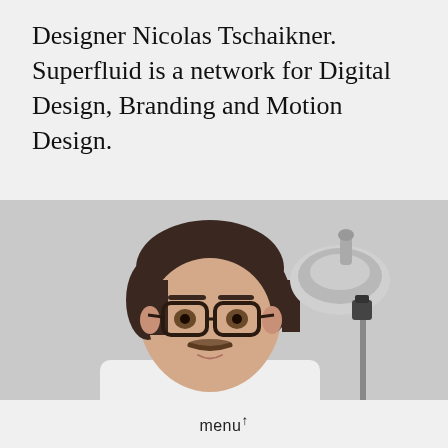Designer Nicolas Tschaikner. Superfluid is a network for Digital Design, Branding and Motion Design.
[Figure (photo): Portrait photo of a young man with glasses and a moustache wearing a white t-shirt, seated in front of a light grey background with a silver studio lamp/light stand visible to his right.]
menu↑